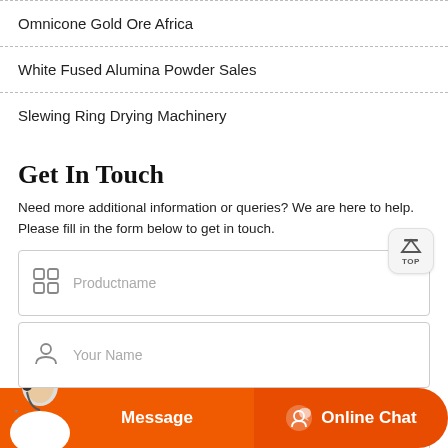Omnicone Gold Ore Africa
White Fused Alumina Powder Sales
Slewing Ring Drying Machinery
Get In Touch
Need more additional information or queries? We are here to help. Please fill in the form below to get in touch.
Productname
Your Name
Email*
Message
Online Chat